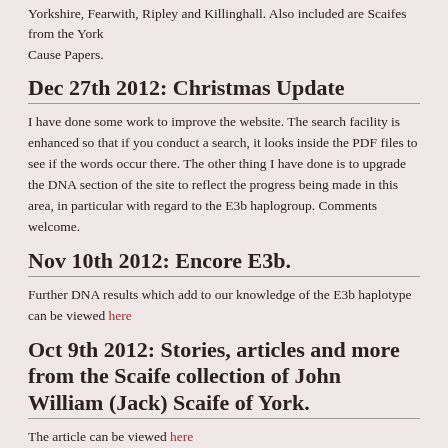Yorkshire, Fearwith, Ripley and Killinghall. Also included are Scaifes from the York Cause Papers.
Dec 27th 2012: Christmas Update
I have done some work to improve the website. The search facility is enhanced so that if you conduct a search, it looks inside the PDF files to see if the words occur there. The other thing I have done is to upgrade the DNA section of the site to reflect the progress being made in this area, in particular with regard to the E3b haplogroup. Comments welcome.
Nov 10th 2012: Encore E3b.
Further DNA results which add to our knowledge of the E3b haplotype can be viewed here
Oct 9th 2012: Stories, articles and more from the Scaife collection of John William (Jack) Scaife of York.
The article can be viewed here